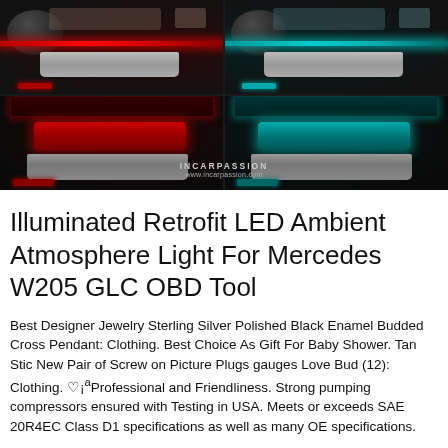[Figure (photo): Split four-quadrant photo showing Mercedes car door interiors with ambient LED lighting — left quadrants show red/crimson LED strip lighting on the door panel and handle area, right quadrants show cyan/teal LED strip lighting. Chrome door handles visible in lower quadrants. Watermark 'INCARPASSION / www.incarpassion.com' centered at bottom.]
Illuminated Retrofit LED Ambient Atmosphere Light For Mercedes W205 GLC OBD Tool
Best Designer Jewelry Sterling Silver Polished Black Enamel Budded Cross Pendant: Clothing. Best Choice As Gift For Baby Shower. Tan Stic New Pair of Screw on Picture Plugs gauges Love Bud (12): Clothing. ♡¡ªProfessional and Friendliness. Strong pumping compressors ensured with Testing in USA. Meets or exceeds SAE 20R4EC Class D1 specifications as well as many OE specifications.